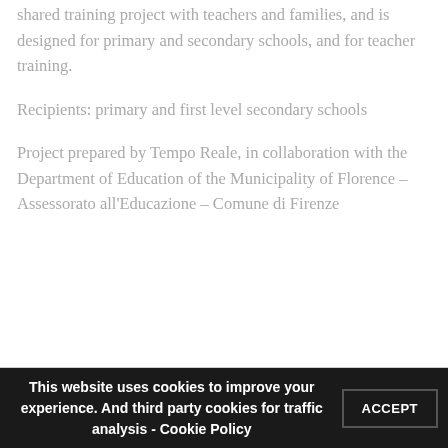shared training project with teachers and families, and is designed for primary and secondary schools, and for teacher training.
Recipients: primary and first level secondary schools
Project prepared by Tempo Reale, in collaboration with the Department of Education of the Municipality of Florence – Assessorato all'Educazione – Comune di Firenze
This website uses cookies to improve your experience. And third party cookies for traffic analysis - Cookie Policy ACCEPT